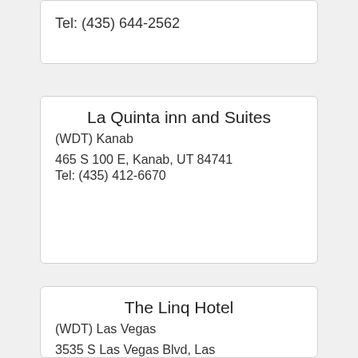Tel: (435) 644-2562
La Quinta inn and Suites
(WDT) Kanab
465 S 100 E, Kanab, UT 84741
Tel: (435) 412-6670
The Linq Hotel
(WDT) Las Vegas
3535 S Las Vegas Blvd, Las Vegas, NV 89109 Tel: (800) 634